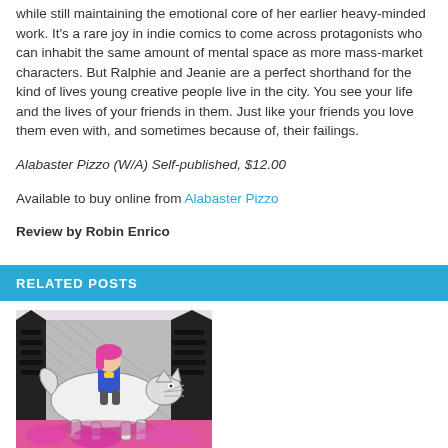while still maintaining the emotional core of her earlier heavy-minded work. It's a rare joy in indie comics to come across protagonists who can inhabit the same amount of mental space as more mass-market characters. But Ralphie and Jeanie are a perfect shorthand for the kind of lives young creative people live in the city. You see your life and the lives of your friends in them. Just like your friends you love them even with, and sometimes because of, their failings.
Alabaster Pizzo (W/A) Self-published, $12.00
Available to buy online from Alabaster Pizzo
Review by Robin Enrico
RELATED POSTS
[Figure (illustration): Comic book cover illustration showing a girl with pink hair riding on a large wolf, with dark forest trees in the background and pink/magenta color accents at the bottom.]